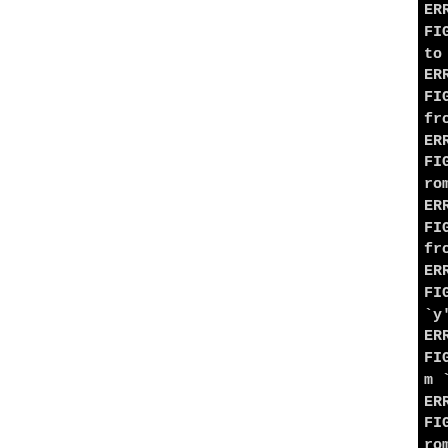ERROR (kernel-multiarch.co FIG_GPIO_UCB1400 redefined to `m'
ERROR (kernel-multiarch.co FIG_SND_HDA_CODEC_REALTEK from `y' to `m'
ERROR (kernel-multiarch.co FIG_SND_HDA_CODEC_ANALOG rom `y' to `m'
ERROR (kernel-multiarch.co FIG_SND_HDA_CODEC_SIGMATEL from `y' to `m'
ERROR (kernel-multiarch.co FIG_SND_HDA_CODEC_VIA rede `y' to `m'
ERROR (kernel-multiarch.co FIG_SND_HDA_CODEC_HDMI red m `y' to `m'
ERROR (kernel-multiarch.co FIG_SND_HDA_CODEC_CIRRUS rom `y' to `m'
ERROR (kernel-multiarch.co FIG_SND_HDA_CODEC_CONEXANT from `y' to `m'